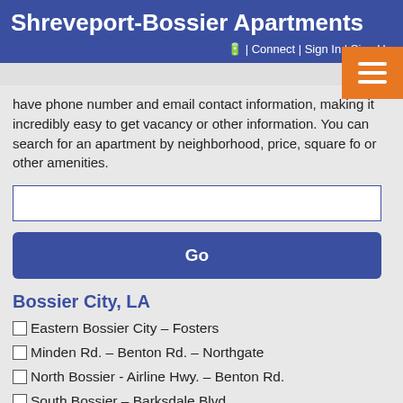Shreveport-Bossier Apartments | Connect | Sign In | Sign Up
have phone number and email contact information, making it incredibly easy to get vacancy or other information. You can search for an apartment by neighborhood, price, square fo or other amenities.
[Figure (screenshot): Search input box (empty text field)]
[Figure (screenshot): Go button - blue rounded rectangle with white bold text 'Go']
Bossier City, LA
Eastern Bossier City – Fosters
Minden Rd. – Benton Rd. – Northgate
North Bossier - Airline Hwy. – Benton Rd.
South Bossier – Barksdale Blvd.
Shreveport, LA
Airport – Pines Road